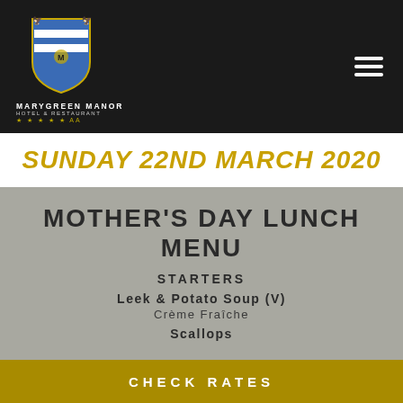[Figure (logo): Marygreen Manor Hotel & Restaurant crest logo with shield design, blue and gold colors, with text 'Marygreen Manor Hotel & Restaurant' and AA star rating below]
SUNDAY 22ND MARCH 2020
MOTHER'S DAY LUNCH MENU
STARTERS
Leek & Potato Soup (V)
Crème Fraîche
Scallops
CHECK RATES